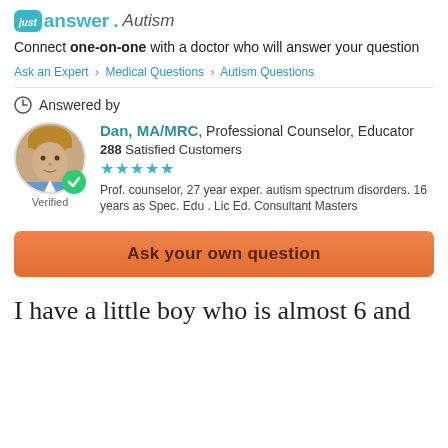[Figure (logo): JustAnswer Autism logo with teal 'just' box and 'answer.' in teal followed by 'Autism' in italic gray]
Connect one-on-one with a doctor who will answer your question
Ask an Expert > Medical Questions > Autism Questions
Answered by
[Figure (photo): Circular profile photo of a young man with blond hair, with a green verified checkmark badge overlay]
Dan, MA/MRC, Professional Counselor, Educator
288 Satisfied Customers
★★★★★
Prof. counselor, 27 year exper. autism spectrum disorders. 16 years as Spec. Edu . Lic Ed. Consultant Masters
Verified
Ask your own question
I have a little boy who is almost 6 and